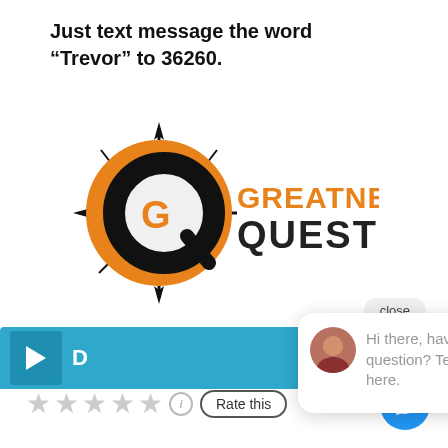Just text message the word “Trevor” to 36260.
[Figure (logo): Greatness Quest logo with compass star graphic, orange G letter mark, and black Q, with orange 'GREATNESS' and black 'QUEST' text]
[Figure (screenshot): Website screenshot showing a video bar with play button, a 'close' button, and a chat popup with avatar saying 'Hi there, have a question? Text us here.']
[Figure (infographic): Five grey star rating row with info circle icon and 'Rate this' pill button, and a blue chat icon button at bottom right]